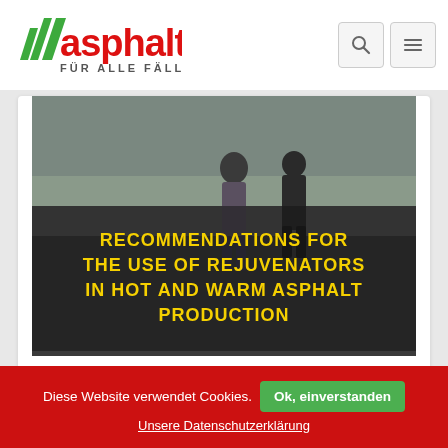[Figure (logo): Asphalt magazine logo: red text 'asphalt' with green diagonal stripes, tagline 'FÜR ALLE FÄLLE']
[Figure (screenshot): Website screenshot showing navigation bar with search and menu icons]
[Figure (photo): Photo of people walking on asphalt with yellow text overlay: 'RECOMMENDATIONS FOR THE USE OF REJUVENATORS IN HOT AND WARM ASPHALT PRODUCTION']
The use of rejuvenators in hot and warm asphalt production (2018)
Diese Website verwendet Cookies.
Ok, einverstanden
Unsere Datenschutzerklärung